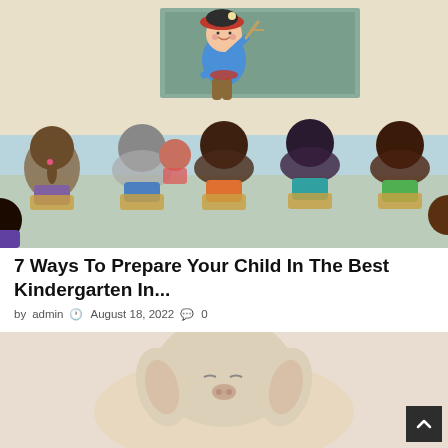[Figure (illustration): Cartoon illustration of a child dressed as a pirate standing in front of a chalkboard, presenting to other children seated in chairs viewed from behind, in a classroom setting.]
7 Ways To Prepare Your Child In The Best Kindergarten In...
by admin  August 18, 2022  0
[Figure (photo): Close-up photo of a light-colored goat or lamb with large floppy ears against a light background.]